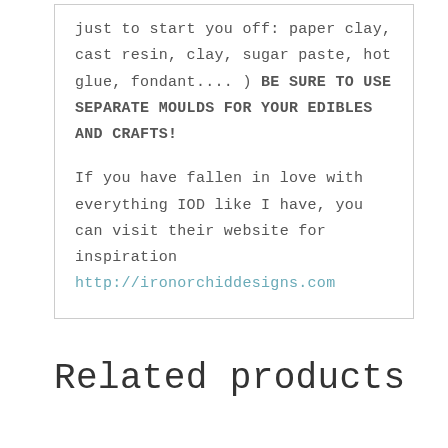just to start you off: paper clay, cast resin, clay, sugar paste, hot glue, fondant.... ) BE SURE TO USE SEPARATE MOULDS FOR YOUR EDIBLES AND CRAFTS!
If you have fallen in love with everything IOD like I have, you can visit their website for inspiration http://ironorchiddesigns.com
Related products